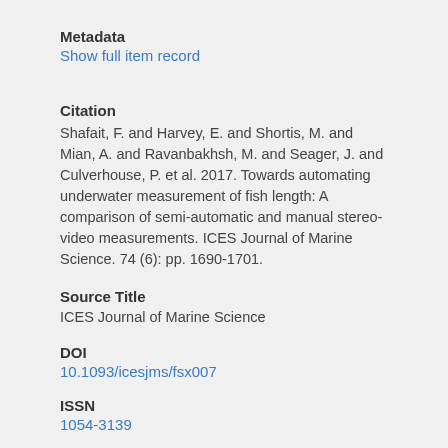Metadata
Show full item record
Citation
Shafait, F. and Harvey, E. and Shortis, M. and Mian, A. and Ravanbakhsh, M. and Seager, J. and Culverhouse, P. et al. 2017. Towards automating underwater measurement of fish length: A comparison of semi-automatic and manual stereo-video measurements. ICES Journal of Marine Science. 74 (6): pp. 1690-1701.
Source Title
ICES Journal of Marine Science
DOI
10.1093/icesjms/fsx007
ISSN
1054-3139